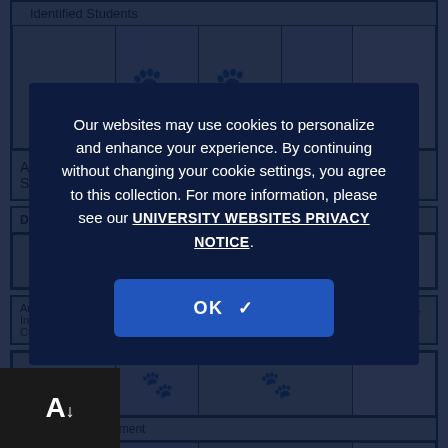Identified Students
[Figure (illustration): Table row with paw print icons in blue-shaded cells and green-shaded empty cell]
Academies of Inquiry & Talent Development (Middle and High School Only)
Designated Arts Enrichment for Artistically Talented Students
Any Advanced Coursework Including: Honors, Magnet, Advanced Placement (AP), International Baccalaureate (IB), Dual Enrollment (College), Online Accelerated Courses, Other (Please Specify Below)
Schoolwide Enrichment
Our websites may use cookies to personalize and enhance your experience. By continuing without changing your cookie settings, you agree to this collection. For more information, please see our UNIVERSITY WEBSITES PRIVACY NOTICE.
OK ✓